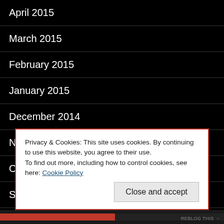April 2015
March 2015
February 2015
January 2015
December 2014
November 2014
October 2014
September 2014
August 2014
Privacy & Cookies: This site uses cookies. By continuing to use this website, you agree to their use.
To find out more, including how to control cookies, see here: Cookie Policy
Close and accept